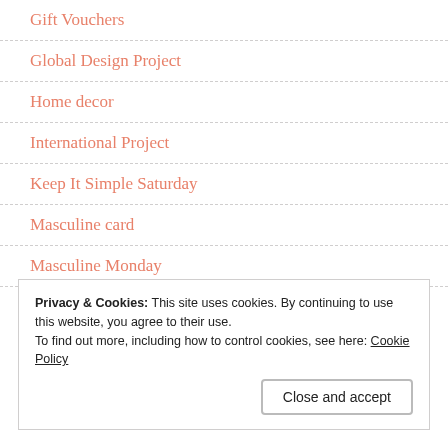Gift Vouchers
Global Design Project
Home decor
International Project
Keep It Simple Saturday
Masculine card
Masculine Monday
Privacy & Cookies: This site uses cookies. By continuing to use this website, you agree to their use.
To find out more, including how to control cookies, see here: Cookie Policy
Close and accept